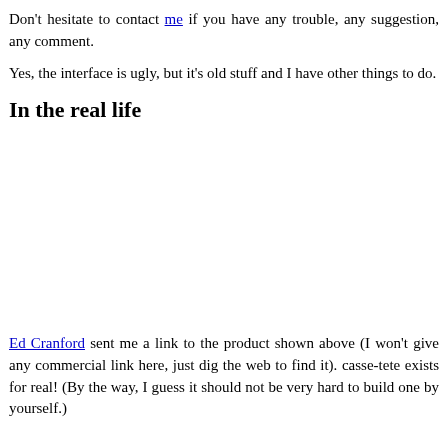Don't hesitate to contact me if you have any trouble, any suggestion, any comment.
Yes, the interface is ugly, but it's old stuff and I have other things to do.
In the real life
Ed Cranford sent me a link to the product shown above (I won't give any commercial link here, just dig the web to find it). casse-tete exists for real! (By the way, I guess it should not be very hard to build one by yourself.)